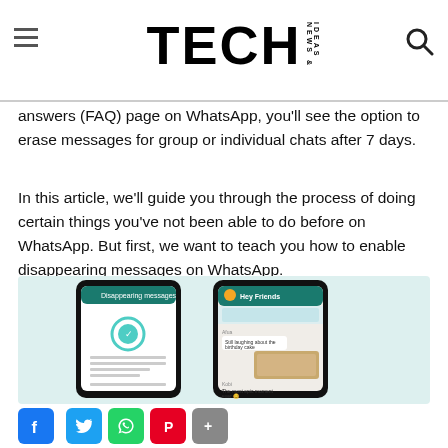TECH NEWS & IDEAS
answers (FAQ) page on WhatsApp, you'll see the option to erase messages for group or individual chats after 7 days.
In this article, we'll guide you through the process of doing certain things you've not been able to do before on WhatsApp. But first, we want to teach you how to enable disappearing messages on WhatsApp.
[Figure (screenshot): Two smartphone mockups showing WhatsApp disappearing messages settings screen and a group chat called Hey Friends with disappearing messages notification.]
Facebook, Twitter, WhatsApp, Pinterest, Share social buttons